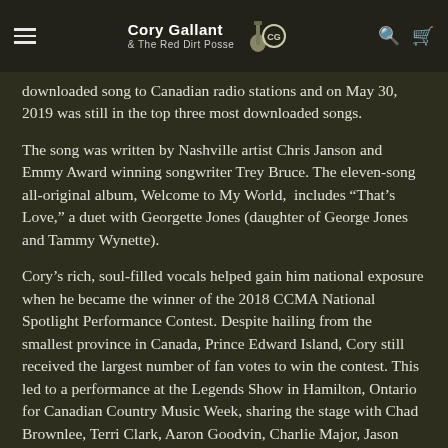Cory Gallant & The Red Dirt Posse
downloaded song to Canadian radio stations and on May 30, 2019 was still in the top three most downloaded songs.
The song was written by Nashville artist Chris Janson and Emmy Award winning songwriter Trey Bruce. The eleven-song all-original album, Welcome to My World,  includes “That’s Love,” a duet with Georgette Jones (daughter of George Jones and Tammy Wynette).
Cory’s rich, soul-filled vocals helped gain him national exposure when he became the winner of the 2018 CCMA National Spotlight Performance Contest. Despite hailing from the smallest province in Canada, Prince Edward Island, Cory still received the largest number of fan votes to win the contest. This led to a performance at the Legends Show in Hamilton, Ontario for Canadian Country Music Week, sharing the stage with Chad Brownlee, Terri Clark, Aaron Goodvin, Charlie Major, Jason McCoy, JJ Shiplett, Patricia Conroy and Michelle Wright.